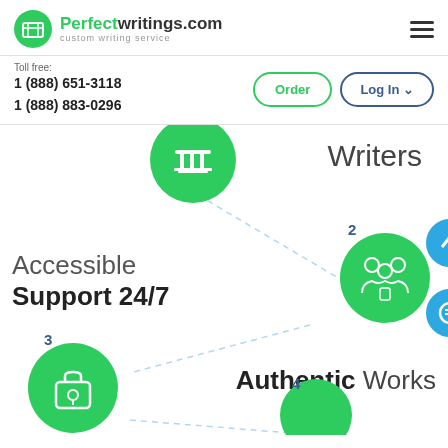Perfectwritings.com — custom writing service
Toll free: 1 (888) 651-3118
1 (888) 883-0296
[Figure (infographic): Step 2: Accessible Support 24/7 — green circle with team/people icon, two blue circles with arrow-up and chat icons, number 2 label]
[Figure (infographic): Step 3: Authentic Works — green circle with briefcase/lock icon, number 3 label]
[Figure (infographic): Step 4: partial green circle at bottom with number 4 label]
Writers
Accessible Support 24/7
Authentic Works